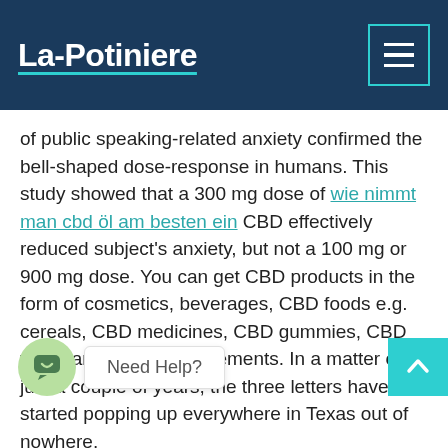La-Potiniere
of public speaking-related anxiety confirmed the bell-shaped dose-response in humans. This study showed that a 300 mg dose of wie nimmt man cbd öl am besten ein CBD effectively reduced subject's anxiety, but not a 100 mg or 900 mg dose. You can get CBD products in the form of cosmetics, beverages, CBD foods e.g. cereals, CBD medicines, CBD gummies, CBD vape, and dietary supplements. In a matter of just a couple of years, the three letters have started popping up everywhere in Texas out of nowhere.
By clicking “I’m over 21” you acknowledge you’re [eligible for] Delta 8 products. The best [way to] decide is by looking at your schedule and long-term fitness goals. And if you need to switch off on